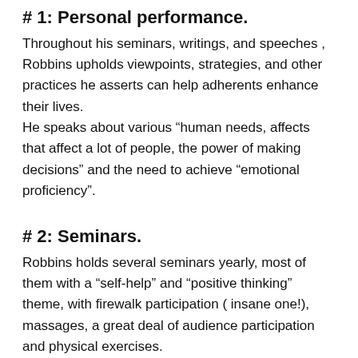# 1: Personal performance.
Throughout his seminars, writings, and speeches , Robbins upholds viewpoints, strategies, and other practices he asserts can help adherents enhance their lives.
He speaks about various “human needs, affects that affect a lot of people, the power of making decisions” and the need to achieve “emotional proficiency”.
# 2: Seminars.
Robbins holds several seminars yearly, most of them with a “self-help” and “positive thinking” theme, with firewalk participation ( insane one!), massages, a great deal of audience participation and physical exercises.